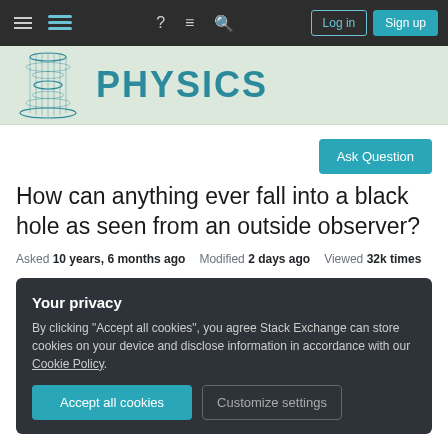Physics Stack Exchange navigation bar with hamburger menu, Stack Exchange logo, help, comments, search icons, Log in and Sign up buttons
[Figure (logo): Physics Stack Exchange site banner with a hyperboloid/cone wireframe logo and PHYSICS text in teal]
Ask Question
How can anything ever fall into a black hole as seen from an outside observer?
Asked 10 years, 6 months ago   Modified 2 days ago   Viewed 32k times
Your privacy
By clicking "Accept all cookies", you agree Stack Exchange can store cookies on your device and disclose information in accordance with our Cookie Policy.
Accept all cookies   Customize settings
I still think that there is anything ever fall into a black hole. In another experiment I am not certain which side...